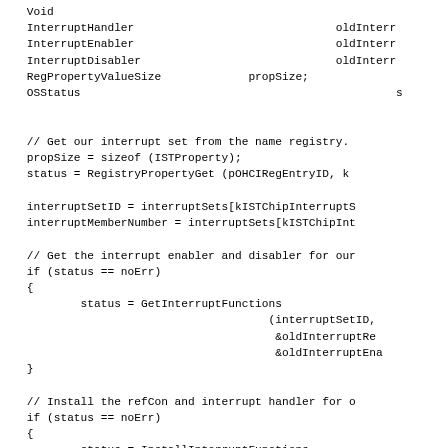Void
InterruptHandler                              oldInterr
InterruptEnabler                               oldInterr
InterruptDisabler                              oldInterr
RegPropertyValueSize             propSize;
OSStatus                                                s


// Get our interrupt set from the name registry.
propSize = sizeof (ISTProperty);
status = RegistryPropertyGet (pOHCIRegEntryID, k

interruptSetID = interruptSets[kISTChipInterruptS
interruptMemberNumber = interruptSets[kISTChipInt

// Get the interrupt enabler and disabler for our
if (status == noErr)
{
        status = GetInterruptFunctions
                                    (interruptSetID,
                                     &oldInterruptRe
                                     &oldInterruptEna
}

// Install the refCon and interrupt handler for o
if (status == noErr)
{
        status = InstallInterruptFunctions
                                    (interruptSetID,
                                     pOHCIUIMData, (